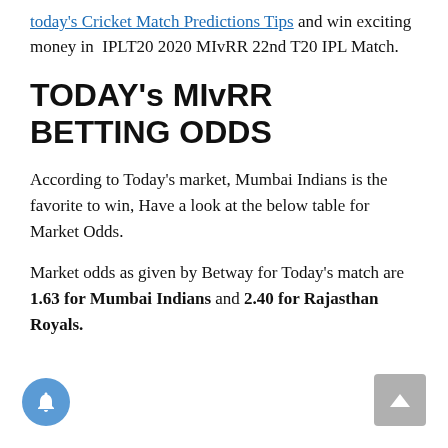today's Cricket Match Predictions Tips and win exciting money in  IPLT20 2020 MIvRR 22nd T20 IPL Match.
TODAY's MIvRR BETTING ODDS
According to Today's market, Mumbai Indians is the favorite to win, Have a look at the below table for Market Odds.
Market odds as given by Betway for Today's match are 1.63 for Mumbai Indians and 2.40 for Rajasthan Royals.